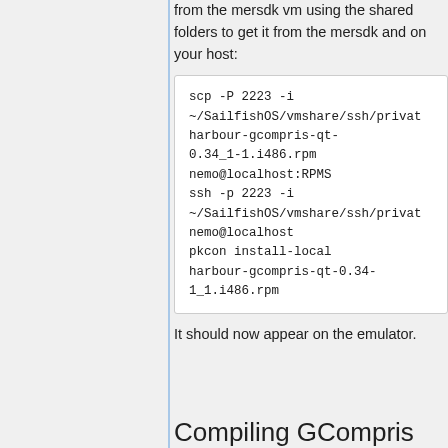from the mersdk vm using the shared folders to get it from the mersdk and on your host:
scp -P 2223 -i ~/SailfishOS/vmshare/ssh/private harbour-gcompris-qt-0.34_1-1.i486.rpm nemo@localhost:RPMS ssh -p 2223 -i ~/SailfishOS/vmshare/ssh/private nemo@localhost pkcon install-local harbour-gcompris-qt-0.34-1_1.i486.rpm
It should now appear on the emulator.
Compiling GCompris for Ubuntu click